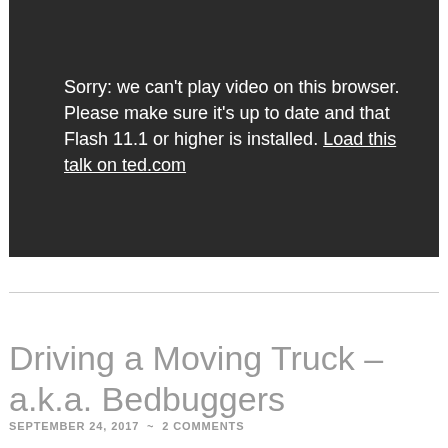[Figure (screenshot): Dark video player area showing an error message: 'Sorry: we can't play video on this browser. Please make sure it's up to date and that Flash 11.1 or higher is installed. Load this talk on ted.com']
Driving a Moving Truck – a.k.a. Bedbuggers
SEPTEMBER 24, 2017 ~ 2 COMMENTS